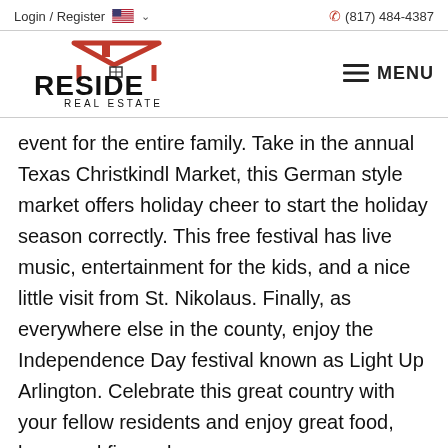Login / Register  🇺🇸 ∨    (817) 484-4387
[Figure (logo): Reside Real Estate logo — red house/roof graphic above bold black text RESIDE REAL ESTATE]
event for the entire family. Take in the annual Texas Christkindl Market, this German style market offers holiday cheer to start the holiday season correctly. This free festival has live music, entertainment for the kids, and a nice little visit from St. Nikolaus. Finally, as everywhere else in the county, enjoy the Independence Day festival known as Light Up Arlington. Celebrate this great country with your fellow residents and enjoy great food, beer, and fireworks.
ng brings people together like sporting events, and Arlington offers some of the best fan experiences